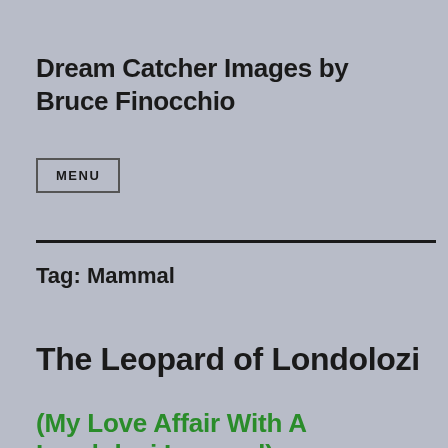Dream Catcher Images by Bruce Finocchio
MENU
Tag: Mammal
The Leopard of Londolozi
(My Love Affair With A Londolozi Leopard)